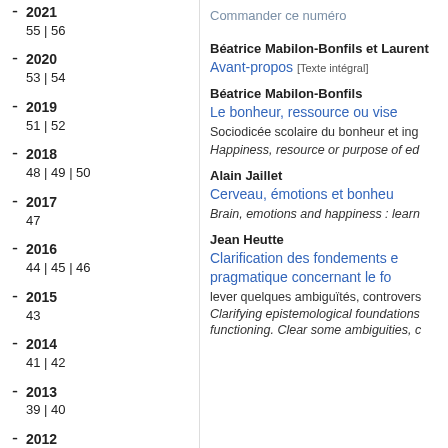2021
55 | 56
2020
53 | 54
2019
51 | 52
2018
48 | 49 | 50
2017
47
2016
44 | 45 | 46
2015
43
2014
41 | 42
2013
39 | 40
2012
37 | 38
2011
35 - 36
2010
32 | 33 - 34
Commander ce numéro
Béatrice Mabilon-Bonfils et Laurent
Avant-propos [Texte intégral]
Béatrice Mabilon-Bonfils
Le bonheur, ressource ou vise
Sociodicée scolaire du bonheur et ing
Happiness, resource or purpose of ed
Alain Jaillet
Cerveau, émotions et bonheu
Brain, emotions and happiness : learn
Jean Heutte
Clarification des fondements e pragmatique concernant le fo
lever quelques ambiguïtés, controvers
Clarifying epistemological foundations functioning. Clear some ambiguities, c